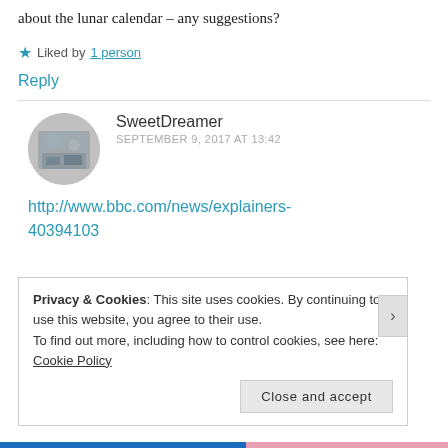about the lunar calendar – any suggestions?
★ Liked by 1 person
Reply
SweetDreamer
SEPTEMBER 9, 2017 AT 13:42
http://www.bbc.com/news/explainers-40394103
Privacy & Cookies: This site uses cookies. By continuing to use this website, you agree to their use.
To find out more, including how to control cookies, see here: Cookie Policy
Close and accept